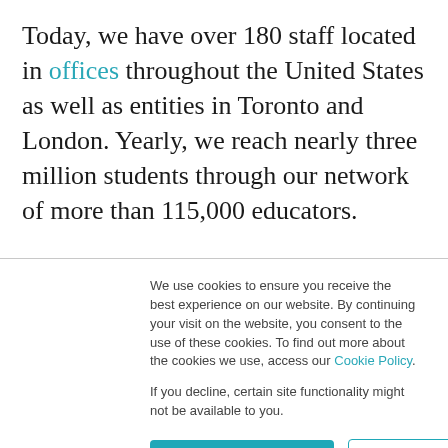Today, we have over 180 staff located in offices throughout the United States as well as entities in Toronto and London. Yearly, we reach nearly three million students through our network of more than 115,000 educators.
Our Facing History team represents a wide range of roles that include delivering hands-on support for educators and schools, creating outstanding
We use cookies to ensure you receive the best experience on our website. By continuing your visit on the website, you consent to the use of these cookies. To find out more about the cookies we use, access our Cookie Policy.
If you decline, certain site functionality might not be available to you.